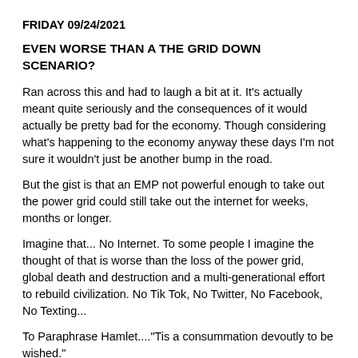FRIDAY 09/24/2021
EVEN WORSE THAN A THE GRID DOWN SCENARIO?
Ran across this and had to laugh a bit at it. It's actually meant quite seriously and the consequences of it would actually be pretty bad for the economy. Though considering what's happening to the economy anyway these days I'm not sure it wouldn't just be another bump in the road.
But the gist is that an EMP not powerful enough to take out the power grid could still take out the internet for weeks, months or longer.
Imagine that... No Internet. To some people I imagine the thought of that is worse than the loss of the power grid, global death and destruction and a multi-generational effort to rebuild civilization. No Tik Tok, No Twitter, No Facebook, No Texting...
To Paraphrase Hamlet...."Tis a consummation devoutly to be wished."
https://www.theepochtimes.com/rare-solar-superstorm-could-prompt-internet-apocalypse-lasting-several-months_nt_hm_4016000.html